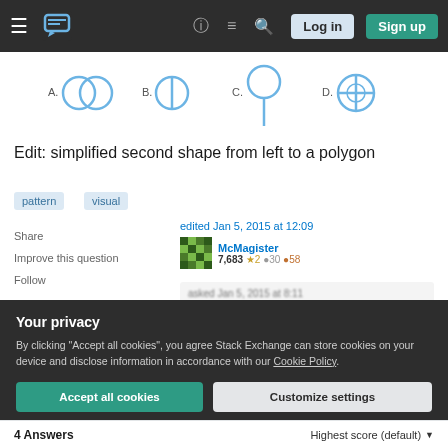Stack Exchange navigation bar with Log in and Sign up buttons
[Figure (illustration): Four labeled shapes A, B, C, D drawn in blue outline: A is two overlapping circles, B is a circle with vertical line, C is a lollipop/circle on a stick, D is a circle with cross inside]
Edit: simplified second shape from left to a polygon
pattern
visual
Share
Improve this question
Follow
edited Jan 5, 2015 at 12:09
McMagister
7,683 ★2 ✦30 ✧58
asked Jan 5, 2015 at 8:11
Your privacy
By clicking "Accept all cookies", you agree Stack Exchange can store cookies on your device and disclose information in accordance with our Cookie Policy.
Accept all cookies   Customize settings
4 Answers   Highest score (default)